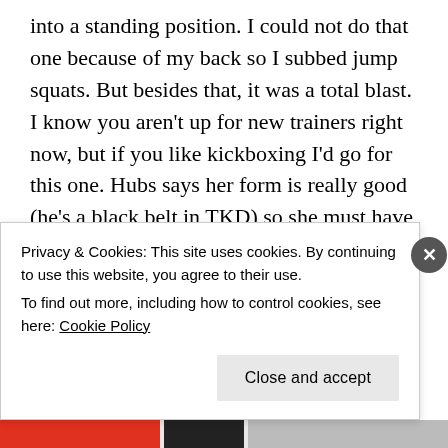into a standing position. I could not do that one because of my back so I subbed jump squats. But besides that, it was a total blast. I know you aren't up for new trainers right now, but if you like kickboxing I'd go for this one. Hubs says her form is really good (he's a black belt in TKD) so she must have some kind of background or good training in it.
I followed that up with a 20 min
Privacy & Cookies: This site uses cookies. By continuing to use this website, you agree to their use.
To find out more, including how to control cookies, see here: Cookie Policy